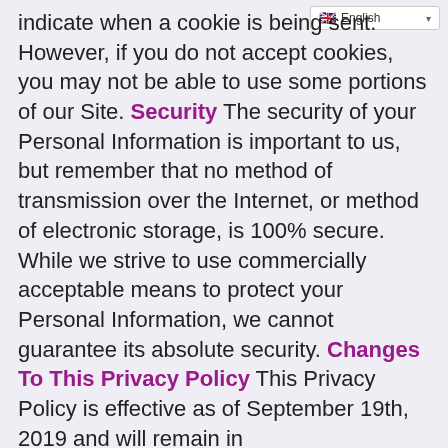[Figure (screenshot): Language selector widget showing UK flag and 'English' with dropdown arrow]
indicate when a cookie is being sent. However, if you do not accept cookies, you may not be able to use some portions of our Site. Security The security of your Personal Information is important to us, but remember that no method of transmission over the Internet, or method of electronic storage, is 100% secure. While we strive to use commercially acceptable means to protect your Personal Information, we cannot guarantee its absolute security. Changes To This Privacy Policy This Privacy Policy is effective as of September 19th, 2019 and will remain in